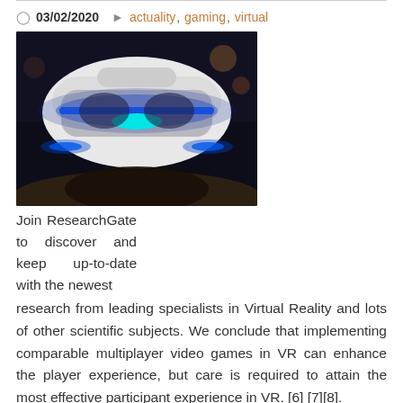03/02/2020  actuality, gaming, virtual
[Figure (photo): A VR headset (PlayStation VR style) with blue LED lighting glowing in a dark environment, front-facing view.]
Join ResearchGate to discover and keep up-to-date with the newest research from leading specialists in Virtual Reality and lots of other scientific subjects. We conclude that implementing comparable multiplayer video games in VR can enhance the player experience, but care is required to attain the most effective participant experience in VR. [6] [7][8].
Players masking all their spots earlier than others win the game, encouraging individuals to move quickly